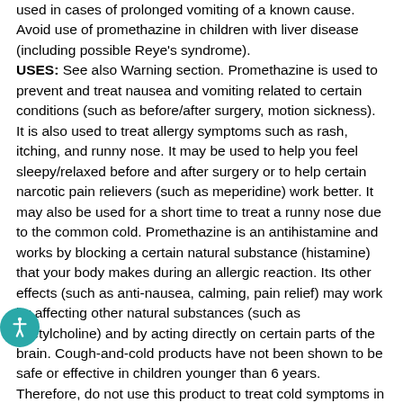used in cases of prolonged vomiting of a known cause. Avoid use of promethazine in children with liver disease (including possible Reye's syndrome). USES: See also Warning section. Promethazine is used to prevent and treat nausea and vomiting related to certain conditions (such as before/after surgery, motion sickness). It is also used to treat allergy symptoms such as rash, itching, and runny nose. It may be used to help you feel sleepy/relaxed before and after surgery or to help certain narcotic pain relievers (such as meperidine) work better. It may also be used for a short time to treat a runny nose due to the common cold. Promethazine is an antihistamine and works by blocking a certain natural substance (histamine) that your body makes during an allergic reaction. Its other effects (such as anti-nausea, calming, pain relief) may work by affecting other natural substances (such as acetylcholine) and by acting directly on certain parts of the brain. Cough-and-cold products have not been shown to be safe or effective in children younger than 6 years. Therefore, do not use this product to treat cold symptoms in children younger than 6 years unless